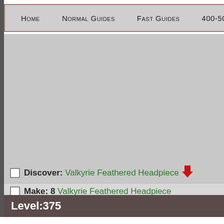Home | Normal Guides | Fast Guides | 400-500 | Sp...
Discover: Valkyrie Feathered Headpiece [down arrow]
Make: 8 Valkyrie Feathered Headpiece
Level:375